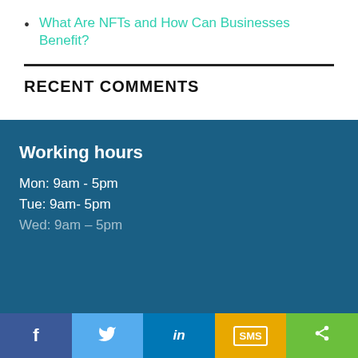What Are NFTs and How Can Businesses Benefit?
RECENT COMMENTS
Working hours
Mon: 9am - 5pm
Tue: 9am- 5pm
Facebook | Twitter | LinkedIn | SMS | Share